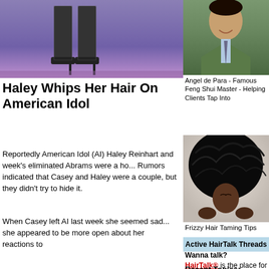[Figure (photo): Person's legs in high heels on a purple/blue stage background]
Haley Whips Her Hair On American Idol
Reportedly American Idol (AI) Haley Reinhart and week's eliminated Abrams were a ho... Rumors indicated that Casey and Haley were a couple, but they didn't try to hide it.
When Casey left AI last week she seemed sad... she appeared to be more open about her reactions to
[Figure (photo): Angel de Para - man in green suit jacket]
Angel de Para - Famous Feng Shui Master - Helping Clients Tap Into
[Figure (photo): Can Drinking Wine Cause Women's Hair Loss - wine glass on table]
Can Drinking Wine Cause Women's Hair Loss?
[Figure (photo): Black and white photo of woman with large afro hair]
Frizzy Hair Taming Tips
[Figure (photo): Woman with long blonde hair posing]
Can Hair Extensions Lead To Hair Loss?
Active HairTalk Threads
Wanna talk? HairTalk® is the place for you!
Recent Topics: